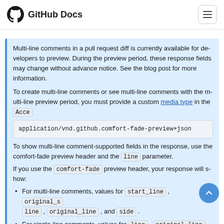GitHub Docs
Multi-line comments in a pull request diff is currently available for developers to preview. During the preview period, these response fields may change without advance notice. See the blog post for more information.
To create multi-line comments or see multi-line comments with the multi-line comment preview period, you must provide a custom media type in the Accept
application/vnd.github.comfort-fade-preview+json
To show multi-line comment-supported fields in the response, use the comfort-fade preview header and the line parameter.
If you use the comfort-fade preview header, your response will show:
For multi-line comments, values for start_line, original_start_line, line, original_line, and side.
For single-line comments, values for line, original_line, and null values for start_line, original_start_line, and star...
If you don't use the comfort-fade preview header, multi-line and single-line comments will appear the same way in the response with a single position attribute.